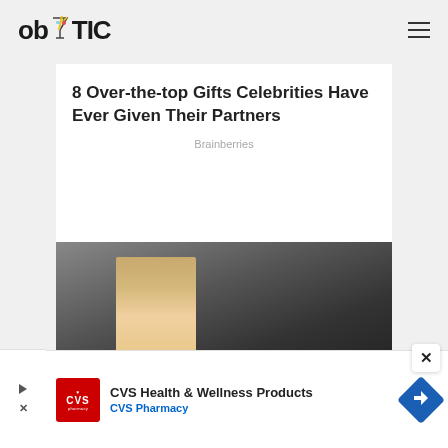ob TIC
8 Over-the-top Gifts Celebrities Have Ever Given Their Partners
Brainberries
[Figure (photo): Photo of a blonde woman inside a vehicle, looking at her phone with dark nails, partially cropped]
[Figure (screenshot): CVS Health & Wellness Products advertisement banner with CVS Pharmacy logo, navigation arrow icon, and ad controls (play and close buttons)]